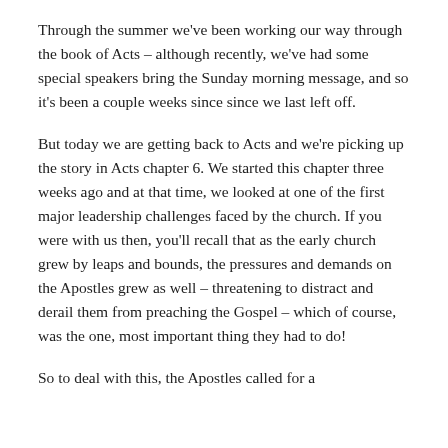Through the summer we've been working our way through the book of Acts – although recently, we've had some special speakers bring the Sunday morning message, and so it's been a couple weeks since since we last left off.
But today we are getting back to Acts and we're picking up the story in Acts chapter 6. We started this chapter three weeks ago and at that time, we looked at one of the first major leadership challenges faced by the church. If you were with us then, you'll recall that as the early church grew by leaps and bounds, the pressures and demands on the Apostles grew as well – threatening to distract and derail them from preaching the Gospel – which of course, was the one, most important thing they had to do!
So to deal with this, the Apostles called for a